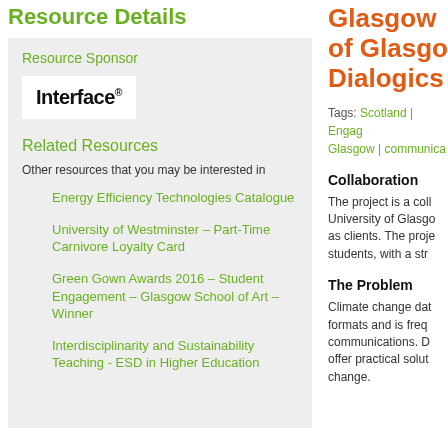Resource Details
Resource Sponsor
[Figure (logo): Interface logo — bold black text 'Interface' with registered trademark superscript, on white background]
Related Resources
Other resources that you may be interested in
Energy Efficiency Technologies Catalogue
University of Westminster – Part-Time Carnivore Loyalty Card
Green Gown Awards 2016 – Student Engagement – Glasgow School of Art – Winner
Interdisciplinarity and Sustainability Teaching - ESD in Higher Education
Glasgow of Glasgo Dialogics
Tags: Scotland | Engag Glasgow | communica
Collaboration
The project is a coll University of Glasgo as clients. The proje students, with a str
The Problem
Climate change dat formats and is freq communications. D offer practical solut change.